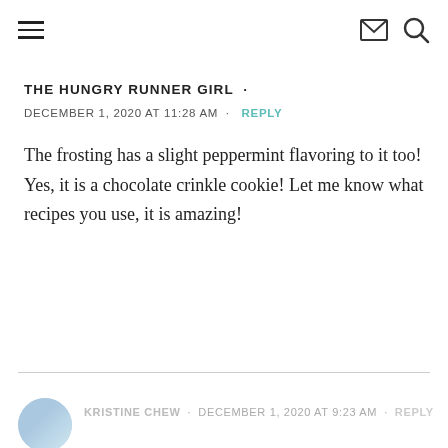Navigation header with hamburger menu, envelope icon, and search icon
THE HUNGRY RUNNER GIRL
DECEMBER 1, 2020 AT 11:28 AM  •  REPLY
The frosting has a slight peppermint flavoring to it too! Yes, it is a chocolate crinkle cookie! Let me know what recipes you use, it is amazing!
KRISTINE CHEW  •  DECEMBER 1, 2020 AT 9:23 AM  •  REPLY